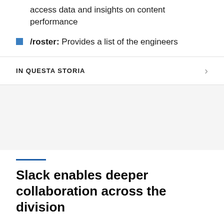access data and insights on content performance
/roster: Provides a list of the engineers
IN QUESTA STORIA
Slack enables deeper collaboration across the division
Bringing teams, data and processes together into one Slack workspace has led to a more integrated and productive division, Cronan says. Moving from email to Slack has fostered